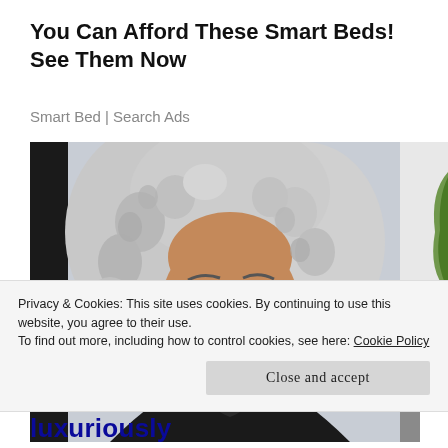You Can Afford These Smart Beds! See Them Now
Smart Bed | Search Ads
[Figure (photo): Man with curly grey hair smiling, wearing dark clothing, photographed outdoors against a building wall]
Privacy & Cookies: This site uses cookies. By continuing to use this website, you agree to their use.
To find out more, including how to control cookies, see here: Cookie Policy
Close and accept
luxuriously